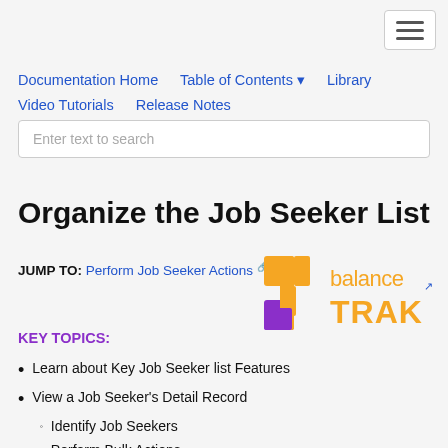[Figure (other): Hamburger menu icon button (three horizontal lines) in top right corner]
Documentation Home   Table of Contents ▾   Library   Video Tutorials   Release Notes
Enter text to search
Organize the Job Seeker List
JUMP TO: Perform Job Seeker Actions 🔗
[Figure (logo): balanceTRAK logo with orange and purple cross/t symbol and orange text reading 'balance TRAK']
KEY TOPICS:
Learn about Key Job Seeker list Features
View a Job Seeker's Detail Record
Identify Job Seekers
Perform Bulk Actions